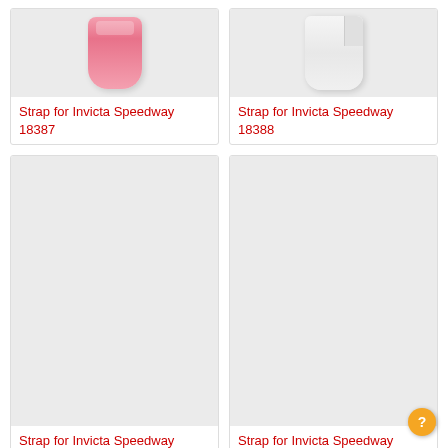[Figure (photo): Pink watch strap for Invicta Speedway 18387]
Strap for Invicta Speedway 18387
[Figure (photo): White watch strap for Invicta Speedway 18388]
Strap for Invicta Speedway 18388
[Figure (photo): Empty product image placeholder for Invicta Speedway 18389]
Strap for Invicta Speedway 18389
[Figure (photo): Empty product image placeholder for Invicta Speedway 18390]
Strap for Invicta Speedway 18390